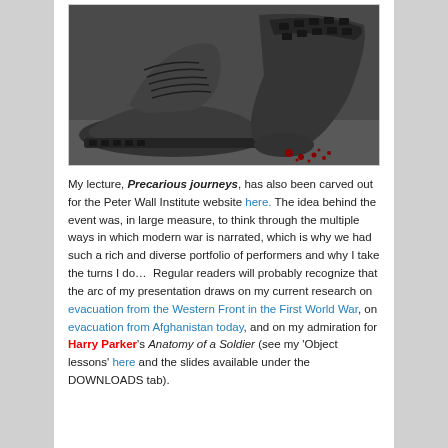[Figure (photo): Black and white close-up photograph of worn military boots on a ground surface with red blood spatters visible near the sole.]
My lecture, Precarious journeys, has also been carved out for the Peter Wall Institute website here. The idea behind the event was, in large measure, to think through the multiple ways in which modern war is narrated, which is why we had such a rich and diverse portfolio of performers and why I take the turns I do…  Regular readers will probably recognize that the arc of my presentation draws on my current research on evacuation from the Western Front in the First World War, on evacuation from Afghanistan today, and on my admiration for Harry Parker's Anatomy of a Soldier (see my 'Object lessons' here and the slides available under the DOWNLOADS tab).